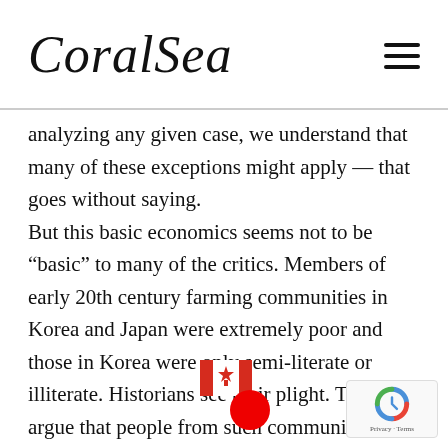CoralSea
analyzing any given case, we understand that many of these exceptions might apply — that goes without saying. But this basic economics seems not to be “basic” to many of the critics. Members of early 20th century farming communities in Korea and Japan were extremely poor and those in Korea were only semi-literate or illiterate. Historians see their plight. They argue that people from such communities were in no condition to “negotiate” with recr and brothe ners for alternative contractua